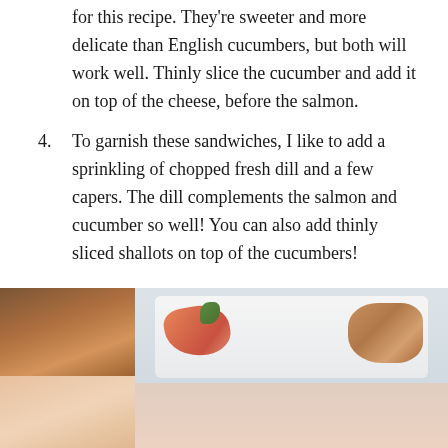for this recipe. They're sweeter and more delicate than English cucumbers, but both will work well. Thinly slice the cucumber and add it on top of the cheese, before the salmon.
4. To garnish these sandwiches, I like to add a sprinkling of chopped fresh dill and a few capers. The dill complements the salmon and cucumber so well! You can also add thinly sliced shallots on top of the cucumbers!
[Figure (photo): Two side-by-side food photos showing open-faced sandwiches/canapes with smoked salmon, herbs, and toppings on a white plate, plus additional food items.]